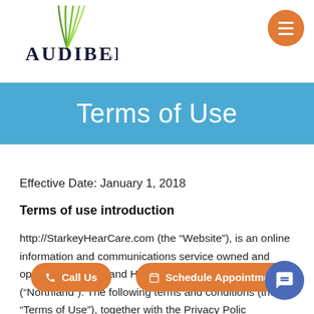AUDIBEL
Terms of Use
Effective Date: January 1, 2018
Terms of use introduction
http://StarkeyHearCare.com (the “Website”), is an online information and communications service owned and operated by Northland Hearing Centers, Inc. (“Northland”). The following terms and conditions (the “Terms of Use”), together with the Privacy Policy and any documents they incorporate by reference, govern your access to and use of this Website,